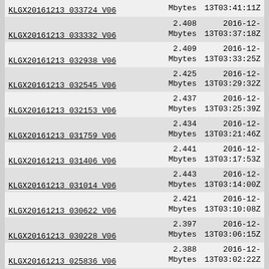| Name | Size | Date |
| --- | --- | --- |
| KLGX20161213_033724_V06 | Mbytes | 13T03:41:11Z |
| KLGX20161213_033332_V06 | 2.408
Mbytes | 2016-12-
13T03:37:18Z |
| KLGX20161213_032938_V06 | 2.409
Mbytes | 2016-12-
13T03:33:25Z |
| KLGX20161213_032545_V06 | 2.425
Mbytes | 2016-12-
13T03:29:32Z |
| KLGX20161213_032153_V06 | 2.437
Mbytes | 2016-12-
13T03:25:39Z |
| KLGX20161213_031759_V06 | 2.434
Mbytes | 2016-12-
13T03:21:46Z |
| KLGX20161213_031406_V06 | 2.441
Mbytes | 2016-12-
13T03:17:53Z |
| KLGX20161213_031014_V06 | 2.443
Mbytes | 2016-12-
13T03:14:00Z |
| KLGX20161213_030622_V06 | 2.421
Mbytes | 2016-12-
13T03:10:08Z |
| KLGX20161213_030228_V06 | 2.397
Mbytes | 2016-12-
13T03:06:15Z |
| KLGX20161213_025836_V06 | 2.388
Mbytes | 2016-12-
13T03:02:22Z |
| KLGX20161213_025444_V06 | 2.392
Mbytes | 2016-12-
13T02:58:31Z |